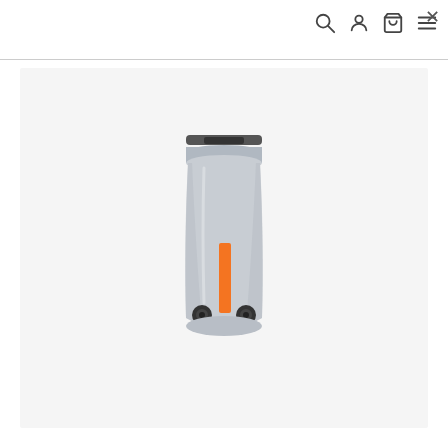Navigation icons: search, account, cart, menu, close
[Figure (photo): A gray waterproof dry bag with an orange vertical stripe label, black roll-top closure with buckle, and two black side attachment points at the bottom. The bag is cylindrical and tall, standing upright.]